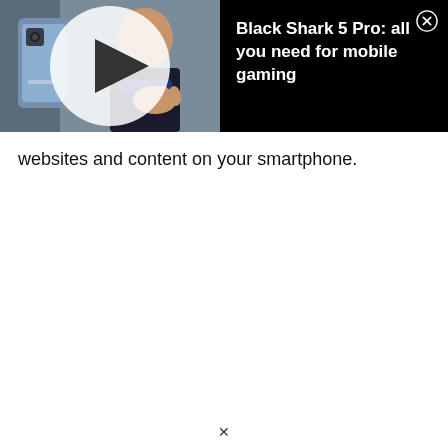[Figure (screenshot): Video ad banner with black background. Left side shows a thumbnail of a bald man holding a Blue Samsung phone with a white play button overlay. Right side shows white bold text 'Black Shark 5 Pro: all you need for mobile gaming' with a close (X) button in the top right corner.]
websites and content on your smartphone.